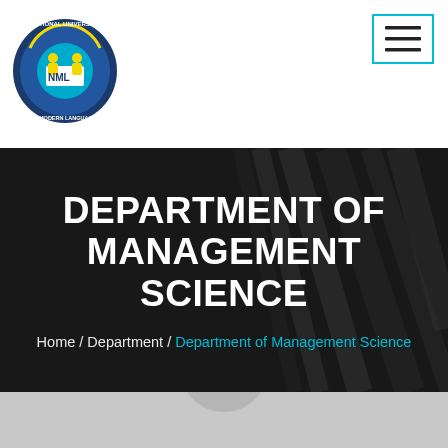[Figure (logo): National University of Modern Languages (NUML) circular logo with blue background, stylized figures and letters NML]
[Figure (other): Hamburger menu button with three horizontal lines, outlined in cyan/teal color]
DEPARTMENT OF MANAGEMENT SCIENCE
Home / Department / Department of Management Science
[Figure (photo): Partial photo of a person, showing only the top of the head, gray/light background]